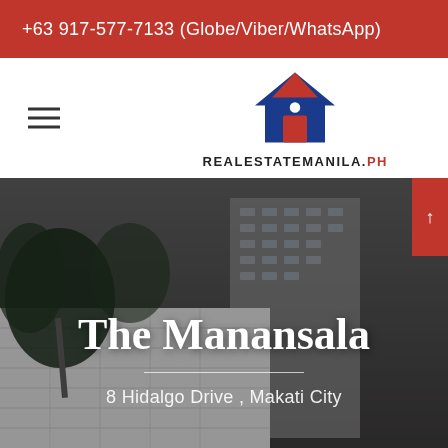+63 917-577-7133 (Globe/Viber/WhatsApp)
[Figure (logo): RealEstateManila.PH logo with house icon in blue and red]
[Figure (photo): Exterior photo of The Manansala condominium tower in Makati City, showing a tall modern high-rise building with palm trees and cloudy sky]
The Manansala
8 Hidalgo Drive , Makati City